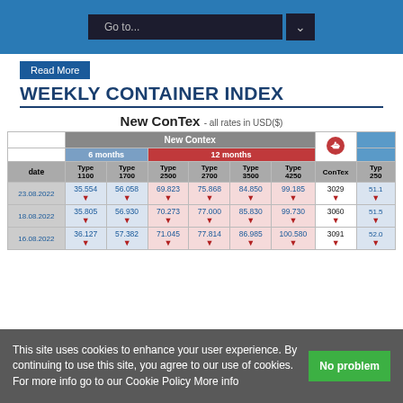Go to...
Read More
WEEKLY CONTAINER INDEX
New ConTex - all rates in USD($)
| date | Type 1100 | Type 1700 | Type 2500 | Type 2700 | Type 3500 | Type 4250 | ConTex | Type 250 |
| --- | --- | --- | --- | --- | --- | --- | --- | --- |
| 23.08.2022 | 35.554 | 56.058 | 69.823 | 75.868 | 84.850 | 99.185 | 3029 | 51.1 |
| 18.08.2022 | 35.805 | 56.930 | 70.273 | 77.000 | 85.830 | 99.730 | 3060 | 51.5 |
| 16.08.2022 | 36.127 | 57.382 | 71.045 | 77.814 | 86.985 | 100.580 | 3091 | 52.0 |
This site uses cookies to enhance your user experience. By continuing to use this site, you agree to our use of cookies. For more info go to our Cookie Policy More info
No problem